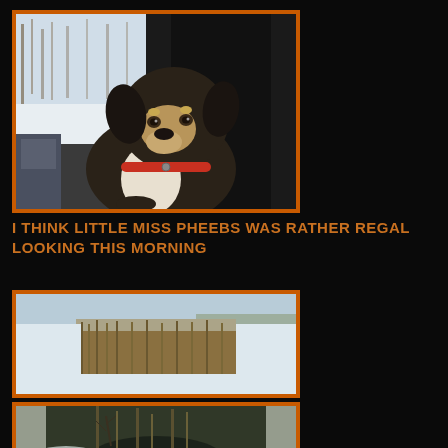[Figure (photo): A large dog with black, tan, and white markings wearing a red collar, sitting in the back seat of a vehicle, looking out the window. Snowy winter landscape visible outside the car window.]
I THINK LITTLE MISS PHEEBS WAS RATHER REGAL LOOKING THIS MORNING
[Figure (photo): A snowy winter landscape with dried golden reeds and cattails in the middle ground, a frozen white field and bare trees in the background under a pale blue sky.]
[Figure (photo): A partially icy creek or stream with dark water, snow-covered banks, dried vegetation and small bare trees along the edges.]